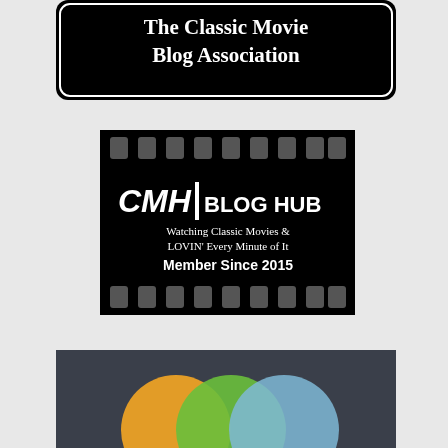[Figure (logo): The Classic Movie Blog Association logo - white text on black rounded rectangle background]
[Figure (logo): CMH Blog Hub logo - film strip style black rectangle with white text: 'CMH BLOG HUB', 'Watching Classic Movies & LOVIN' Every Minute of It', 'Member Since 2015']
[Figure (logo): Dark gray background with three overlapping circles in orange, green, and light blue colors - partially visible at bottom]